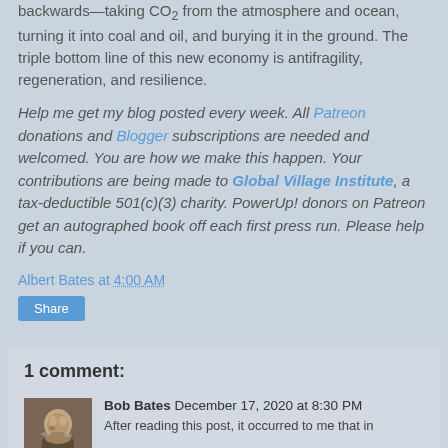backwards—taking CO2 from the atmosphere and ocean, turning it into coal and oil, and burying it in the ground. The triple bottom line of this new economy is antifragility, regeneration, and resilience.
Help me get my blog posted every week. All Patreon donations and Blogger subscriptions are needed and welcomed. You are how we make this happen. Your contributions are being made to Global Village Institute, a tax-deductible 501(c)(3) charity. PowerUp! donors on Patreon get an autographed book off each first press run. Please help if you can.
Albert Bates at 4:00 AM
Share
1 comment:
Bob Bates December 17, 2020 at 8:30 PM
After reading this post, it occurred to me that in